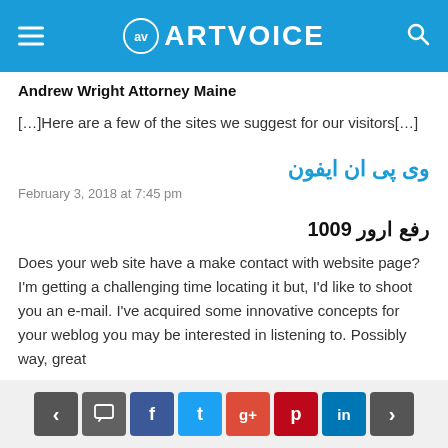ARTVOICE
Andrew Wright Attorney Maine
[…]Here are a few of the sites we suggest for our visitors[…]
وی پی ان ایفون
February 3, 2018 at 7:45 pm
رفع ارور 1009
Does your web site have a make contact with website page? I'm getting a challenging time locating it but, I'd like to shoot you an e-mail. I've acquired some innovative concepts for your weblog you may be interested in listening to. Possibly way, great
< comment f t g+ p in >